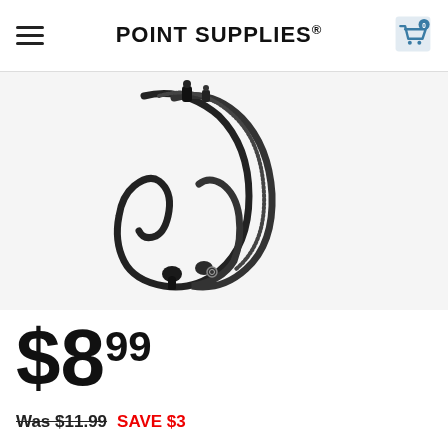POINT SUPPLIES®
[Figure (photo): Black bicycle or motorcycle cable set with connectors, photographed on white/light grey background, showing looped cables with end fittings]
$8⁹⁹
Was $11.99  SAVE $3